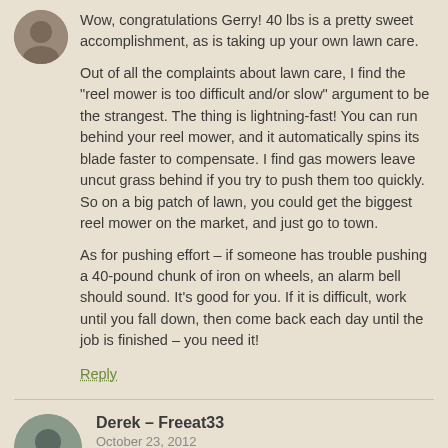[Figure (photo): Partial view of a user avatar at top-left, circular crop]
Wow, congratulations Gerry! 40 lbs is a pretty sweet accomplishment, as is taking up your own lawn care.

Out of all the complaints about lawn care, I find the "reel mower is too difficult and/or slow" argument to be the strangest. The thing is lightning-fast! You can run behind your reel mower, and it automatically spins its blade faster to compensate. I find gas mowers leave uncut grass behind if you try to push them too quickly. So on a big patch of lawn, you could get the biggest reel mower on the market, and just go to town.

As for pushing effort – if someone has trouble pushing a 40-pound chunk of iron on wheels, an alarm bell should sound. It's good for you. If it is difficult, work until you fall down, then come back each day until the job is finished – you need it!
Reply
[Figure (photo): User avatar for Derek - Freeat33, circular photo of a person]
Derek – Freeat33
October 23, 2012
I have a park near my house that grows pears. We pick